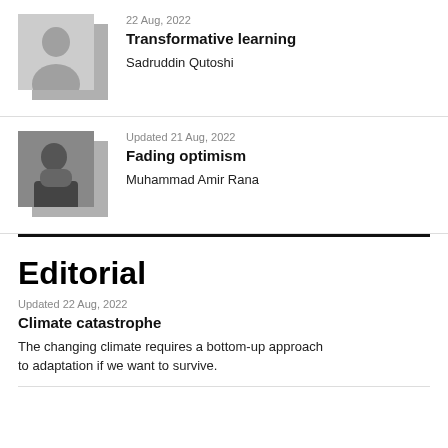22 Aug, 2022
Transformative learning
Sadruddin Qutoshi
Updated 21 Aug, 2022
Fading optimism
Muhammad Amir Rana
Editorial
Updated 22 Aug, 2022
Climate catastrophe
The changing climate requires a bottom-up approach to adaptation if we want to survive.